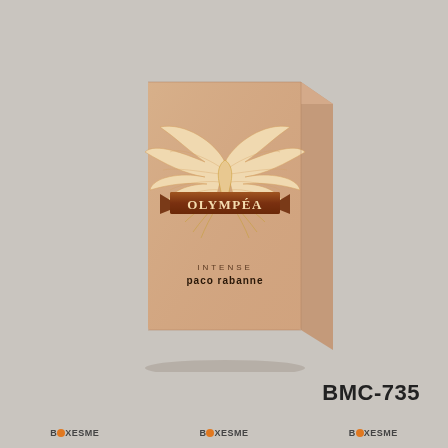[Figure (photo): A floating perfume box for Olympéa Intense by Paco Rabanne. The box is a warm rose-tan/nude color with golden angel wings spread across the upper portion, and a dark brown ribbon banner across the middle bearing the text 'OLYMPÉA' in gold/white letters. Below the wings and banner, the text 'INTENSE' appears in small caps and 'paco rabanne' in bold lowercase. The box is shown at a slight angle casting a soft shadow beneath it against a gray background.]
BMC-735
BOXESME   BOXESME   BOXESME